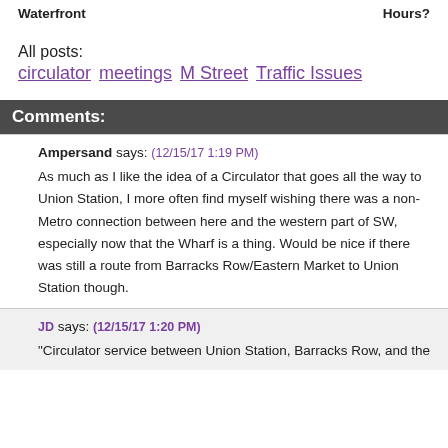Waterfront | Hours?
All posts:
circulator meetings M Street Traffic Issues
Comments:
Ampersand says: (12/15/17 1:19 PM)
As much as I like the idea of a Circulator that goes all the way to Union Station, I more often find myself wishing there was a non-Metro connection between here and the western part of SW, especially now that the Wharf is a thing. Would be nice if there was still a route from Barracks Row/Eastern Market to Union Station though.
JD says: (12/15/17 1:20 PM)
"Circulator service between Union Station, Barracks Row, and the